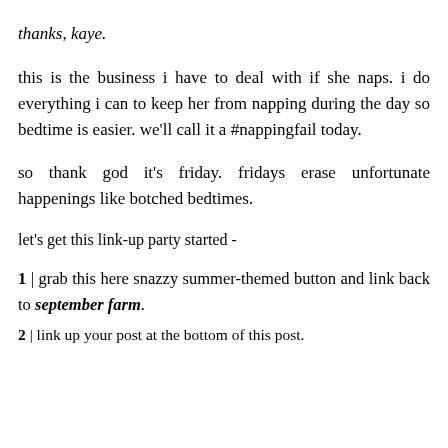thanks, kaye.
this is the business i have to deal with if she naps. i do everything i can to keep her from napping during the day so bedtime is easier. we'll call it a #nappingfail today.
so thank god it's friday. fridays erase unfortunate happenings like botched bedtimes.
let's get this link-up party started -
1 | grab this here snazzy summer-themed button and link back to september farm.
2 | link up your post at the bottom of this post.